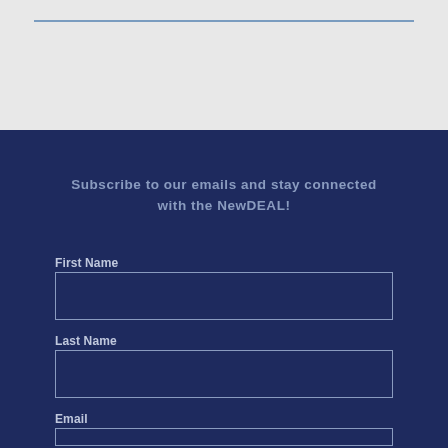Subscribe to our emails and stay connected with the NewDEAL!
First Name
Last Name
Email